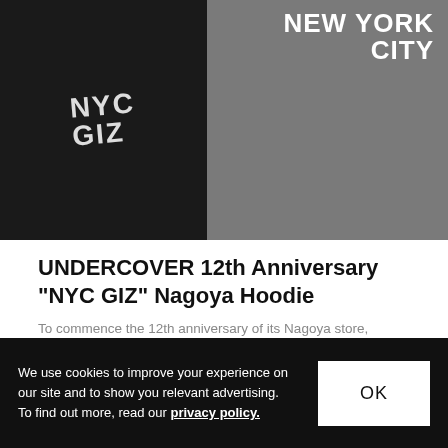[Figure (photo): Two hoodies laid flat — a dark/black hoodie on the left with white graphic text, and a grey hoodie on the right with 'NEW YORK CITY' text in white.]
UNDERCOVER 12th Anniversary "NYC GIZ" Nagoya Hoodie
To commence the 12th anniversary of its Nagoya store, respected Japanese label UNDERCOVER present a
Fashion   Sep 15, 2011   🔥 144   💬 0
We use cookies to improve your experience on our site and to show you relevant advertising. To find out more, read our privacy policy.